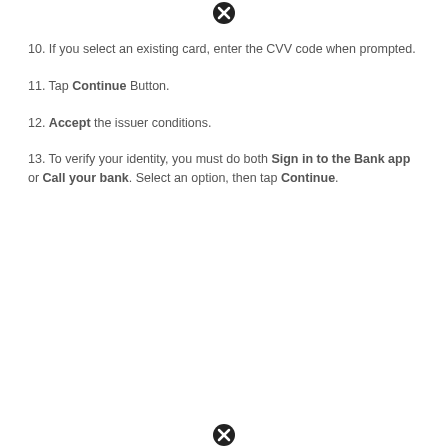(image credit: Android Central)
10. If you select an existing card, enter the CVV code when prompted.
11. Tap Continue Button.
12. Accept the issuer conditions.
13. To verify your identity, you must do both Sign in to the Bank app or Call your bank. Select an option, then tap Continue.